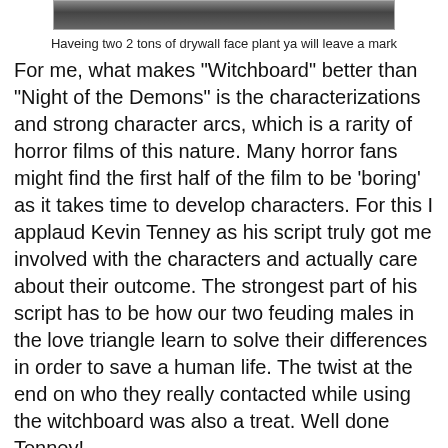[Figure (photo): Partial movie still at the top of the page, cropped showing a scene from a film]
Haveing two 2 tons of drywall face plant ya will leave a mark
For me, what makes "Witchboard" better than "Night of the Demons" is the characterizations and strong character arcs, which is a rarity of horror films of this nature. Many horror fans might find the first half of the film to be 'boring' as it takes time to develop characters. For this I applaud Kevin Tenney as his script truly got me involved with the characters and actually care about their outcome. The strongest part of his script has to be how our two feuding males in the love triangle learn to solve their differences in order to save a human life. The twist at the end on who they really contacted while using the witchboard was also a treat. Well done Tenney!
[Figure (photo): Movie still showing an actor with a shocked/scared expression holding a hammer, in a construction setting with wooden framing visible in the background]